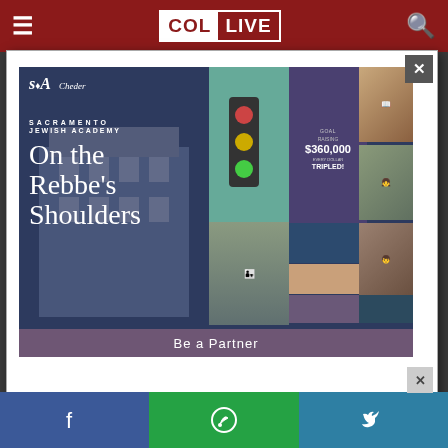COL LIVE
ABOUT US
Contact Us
[Figure (screenshot): Modal popup advertisement for Sacramento Jewish Academy Cheder showing 'On the Rebbe's Shoulders' campaign with collage of children photos and 'Be a Partner' call to action. Goal shown as $360,000 with TRIPLED matching.]
Facebook | WhatsApp | Twitter social sharing bar